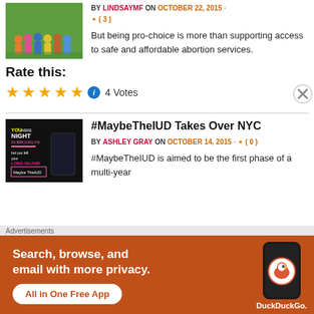[Figure (photo): Group of people standing together outdoors on green background]
BY LINDSAYMF on OCTOBER 22, 2015 · ( 3 )
But being pro-choice is more than supporting access to safe and affordable abortion services.
Rate this:
★★★★★ ℹ 4 Votes
[Figure (photo): NYC subway advertisement poster for MaybeTheIUD campaign, dark background with colorful text]
#MaybeTheIUD Takes Over NYC
BY ASHLEY GRAY on OCTOBER 14, 2015 · ( 0 )
#MaybeTheIUD is aimed to be the first phase of a multi-year
Advertisements
[Figure (screenshot): DuckDuckGo advertisement banner: Search, browse, and email with more privacy. All in One Free App. Shows DuckDuckGo logo and phone mockup.]